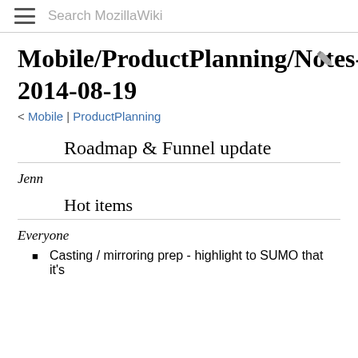Search MozillaWiki
Mobile/ProductPlanning/Notes-2014-08-19
< Mobile | ProductPlanning
Roadmap & Funnel update
Jenn
Hot items
Everyone
Casting / mirroring prep - highlight to SUMO that it's